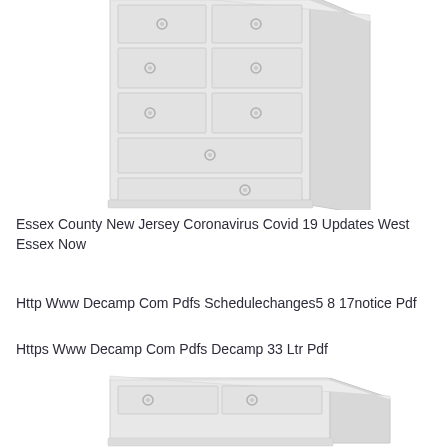[Figure (illustration): A white/light gray illustration of a tall chest of drawers (dresser) with multiple drawers and round knob handles, shown from a slight angle. The image is cropped at the top showing partial view.]
Essex County New Jersey Coronavirus Covid 19 Updates West Essex Now
Http Www Decamp Com Pdfs Schedulechanges5 8 17notice Pdf
Https Www Decamp Com Pdfs Decamp 33 Ltr Pdf
[Figure (illustration): A white/light gray illustration of a low dresser or chest of drawers, partially visible at the bottom of the page.]